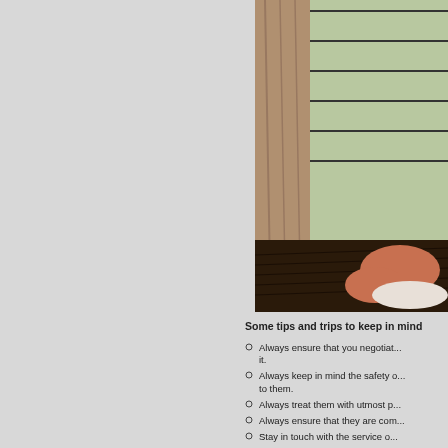[Figure (photo): A room interior showing a person sitting on a dark hardwood floor near large floor-to-ceiling windows with horizontal railings outside and a beige curtain to the left, with greenery visible through the window.]
Some tips and trips to keep in mind
Always ensure that you negotiat... it.
Always keep in mind the safety ... to them.
Always treat them with utmost p...
Always ensure that they are com...
Stay in touch with the service o...